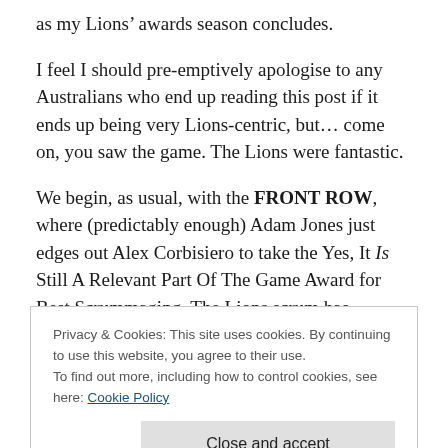as my Lions’ awards season concludes.
I feel I should pre-emptively apologise to any Australians who end up reading this post if it ends up being very Lions-centric, but… come on, you saw the game. The Lions were fantastic.
We begin, as usual, with the FRONT ROW, where (predictably enough) Adam Jones just edges out Alex Corbisiero to take the Yes, It Is Still A Relevant Part Of The Game Award for Best Scrummaging. The Lions scrum has
Privacy & Cookies: This site uses cookies. By continuing to use this website, you agree to their use.
To find out more, including how to control cookies, see here: Cookie Policy
Close and accept
However, in this match the front row combo of Corbisiero,